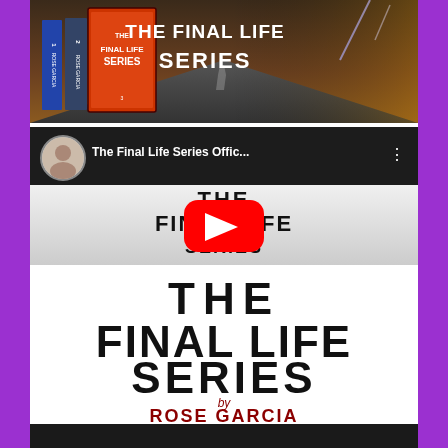[Figure (photo): Top banner image showing 'The Final Life Series' book covers on a dark rainy road with lightning, text overlay reads 'THE FINAL LIFE SERIES' in white on the right side]
[Figure (screenshot): YouTube video embed showing 'The Final Life Series Offic...' with a woman's profile photo as avatar, three dots menu on right, YouTube play button overlay on The Final Life Series book logo thumbnail]
[Figure (screenshot): Bottom partial YouTube video thumbnail, dark/black colored]